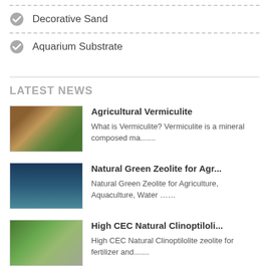Decorative Sand
Aquarium Substrate
LATEST NEWS
[Figure (photo): Thumbnail image of agricultural vermiculite mineral samples]
Agricultural Vermiculite
What is Vermiculite? Vermiculite is a mineral composed ma.......
[Figure (photo): Thumbnail image of natural green zeolite]
Natural Green Zeolite for Agr...
Natural Green Zeolite for Agriculture, Aquaculture, Water .......
[Figure (photo): Thumbnail image of high CEC natural clinoptilolite zeolite products]
High CEC Natural Clinoptiloli...
High CEC Natural Clinoptilolite zeolite for fertilizer and.......
[Figure (photo): Thumbnail image of perlite and vermiculite]
Perlite & Vermiculite
Use Perlite or Vermiculite? You may have